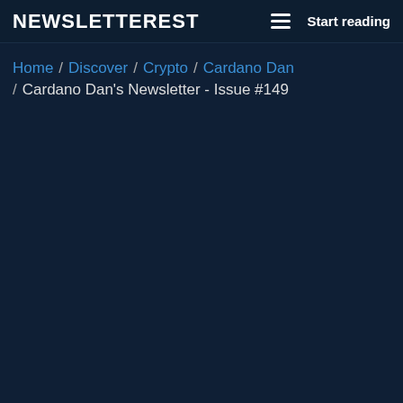NEWSLETTEREST  Start reading
Home / Discover / Crypto / Cardano Dan / Cardano Dan's Newsletter - Issue #149